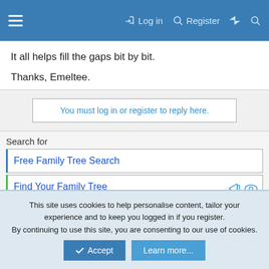Log in  Register
It all helps fill the gaps bit by bit.
Thanks, Emeltee.
You must log in or register to reply here.
Search for
Free Family Tree Search
Find Your Family Tree
Share:
This site uses cookies to help personalise content, tailor your experience and to keep you logged in if you register.
By continuing to use this site, you are consenting to our use of cookies.
Accept   Learn more...